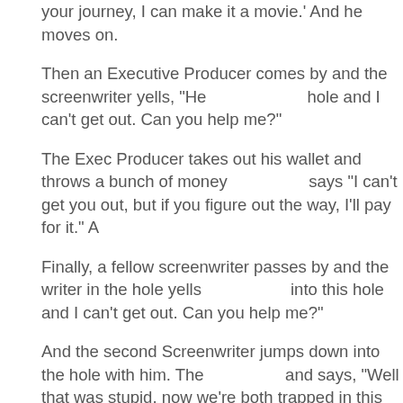your journey, I can make it a movie.' And he moves on.
Then an Executive Producer comes by and the screenwriter yells, "He... hole and I can't get out. Can you help me?"
The Exec Producer takes out his wallet and throws a bunch of money... says "I can't get you out, but if you figure out the way, I'll pay for it." An...
Finally, a fellow screenwriter passes by and the writer in the hole yells... into this hole and I can't get out. Can you help me?"
And the second Screenwriter jumps down into the hole with him. The... and says, "Well that was stupid, now we're both trapped in this hole."
And the second screenwriter says, "Yeah, but I've been down in this h... the way out."
Writers write themselves into holes all the time. But the sign of a truly... able to write yourself out of it. And let me tell you, more than 80% of w...
Writing yourself into a hole usually happens when you haven't planne... done character exercises before starting to write. Writing yourself out... either when you get stuck and you're not sure what should come next... rewriting and you (or someone else) begin to find tons of plot holes an...